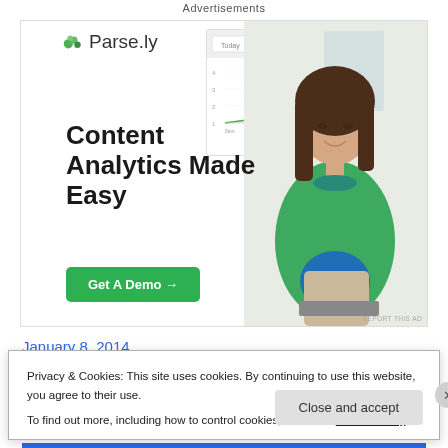Advertisements
[Figure (photo): Parse.ly advertisement banner featuring a woman in a green sweater standing next to a laptop. Shows the Parse.ly logo, a dashboard screenshot, the headline 'Content Analytics Made Easy', and a 'Get A Demo →' call-to-action button.]
REPORT THIS AD
January 8, 2014
Privacy & Cookies: This site uses cookies. By continuing to use this website, you agree to their use.
To find out more, including how to control cookies, see here: Cookie Policy
Close and accept